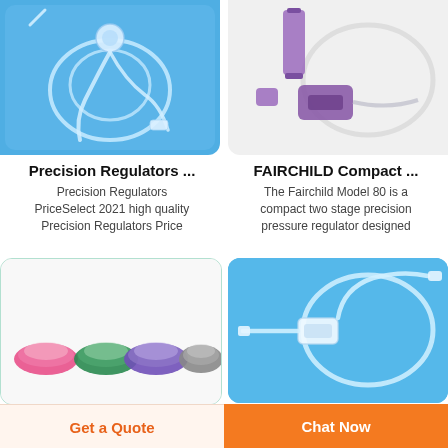[Figure (photo): Medical tubing with precision regulator on blue background]
[Figure (photo): FAIRCHILD compact pressure regulator components on white/grey background with purple/lavender parts]
Precision Regulators ...
FAIRCHILD Compact ...
Precision Regulators PriceSelect 2021 high quality Precision Regulators Price
The Fairchild Model 80 is a compact two stage precision pressure regulator designed
[Figure (photo): Four color silicone mouth guards/masks in pink, green, purple, and grey on white background]
[Figure (photo): Medical IV tubing set with regulator on blue background]
Get a Quote
Chat Now